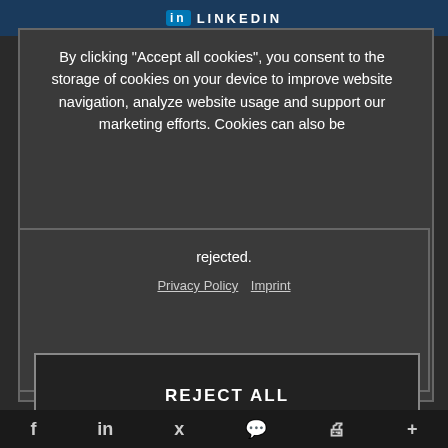in LINKEDIN
CREATE A NEW APPLICANT PROFILE
By clicking “Accept all cookies”, you consent to the storage of cookies on your device to improve website navigation, analyze website usage and support our marketing efforts. Cookies can also be rejected.
CREATE A NEW APPLICANT PROFILE
Privacy Policy   Imprint
REJECT ALL
ACCEPT ALL COOKIES
f  in  k  💬  🖨  +